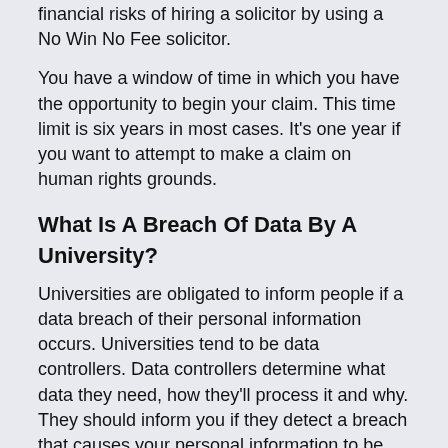financial risks of hiring a solicitor by using a No Win No Fee solicitor.
You have a window of time in which you have the opportunity to begin your claim. This time limit is six years in most cases. It's one year if you want to attempt to make a claim on human rights grounds.
What Is A Breach Of Data By A University?
Universities are obligated to inform people if a data breach of their personal information occurs. Universities tend to be data controllers. Data controllers determine what data they need, how they'll process it and why. They should inform you if they detect a breach that causes your personal information to be accidentally or unlawfully:
Lost.
Altered.
Disclosed without authorisation.
Accessed without authorisation.